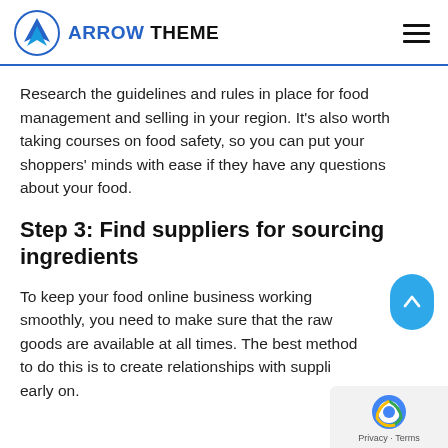ARROW THEME
Research the guidelines and rules in place for food management and selling in your region. It's also worth taking courses on food safety, so you can put your shoppers' minds with ease if they have any questions about your food.
Step 3: Find suppliers for sourcing ingredients
To keep your food online business working smoothly, you need to make sure that the raw goods are available at all times. The best method to do this is to create relationships with suppliers early on.